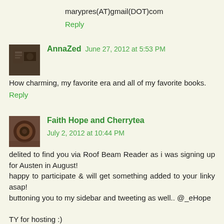marypres(AT)gmail(DOT)com
Reply
AnnaZed  June 27, 2012 at 5:53 PM
How charming, my favorite era and all of my favorite books.
Reply
Faith Hope and Cherrytea  July 2, 2012 at 10:44 PM
delited to find you via Roof Beam Reader as i was signing up for Austen in August!
happy to participate & will get something added to your linky asap!
buttoning you to my sidebar and tweeting as well.. @_eHope

TY for hosting :)